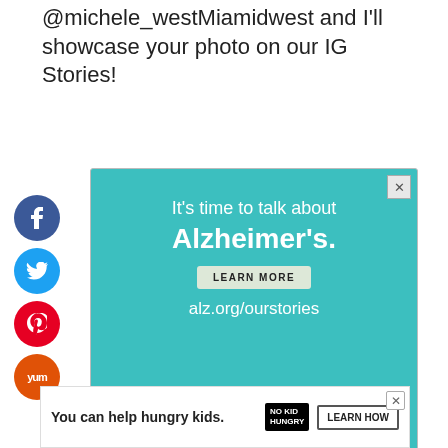@michele_westMiamidwest and I'll showcase your photo on our IG Stories!
[Figure (advertisement): Alzheimer's Association advertisement: teal background with text 'It's time to talk about Alzheimer's.' and a LEARN MORE button, alz.org/ourstories URL, and illustration of two people]
[Figure (advertisement): No Kid Hungry advertisement: 'You can help hungry kids.' with LEARN HOW button]